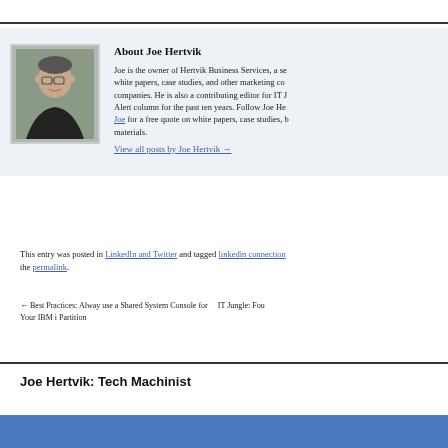[Figure (photo): Headshot photo of Joe Hertvik, a middle-aged man with glasses wearing a dark suit jacket]
About Joe Hertvik
Joe is the owner of Hertvik Business Services, a se... white papers, case studies, and other marketing co... companies. He is also a contributing editor for IT J Alert column for the past ten years. Follow Joe He... Joe for a free quote on white papers, case studies, b... materials.
View all posts by Joe Hertvik →
This entry was posted in LinkedIn and Twitter and tagged linkedin connection... the permalink.
← Best Practices: Alway use a Shared System Console for Your IBM i Partition     IT Jungle: Fou...
Joe Hertvik: Tech Machinist